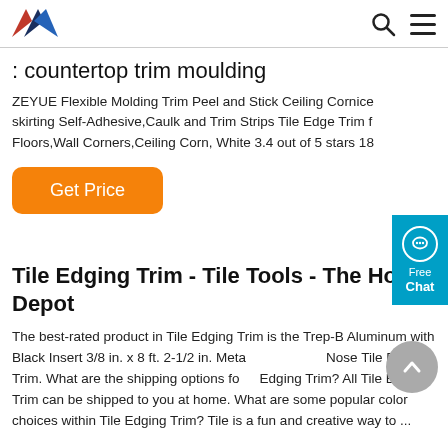AAN [logo] [search icon] [menu icon]
: countertop trim moulding
ZEYUE Flexible Molding Trim Peel and Stick Ceiling Cornice skirting Self-Adhesive,Caulk and Trim Strips Tile Edge Trim f Floors,Wall Corners,Ceiling Corn, White 3.4 out of 5 stars 18
Get Price
Tile Edging Trim - Tile Tools - The Home Depot
The best-rated product in Tile Edging Trim is the Trep-B Aluminum with Black Insert 3/8 in. x 8 ft. 2-1/2 in. Meta Nose Tile Edging Trim. What are the shipping options fo Edging Trim? All Tile Edging Trim can be shipped to you at home. What are some popular color choices within Tile Edging Trim? Tile is a fun and creative way to ...